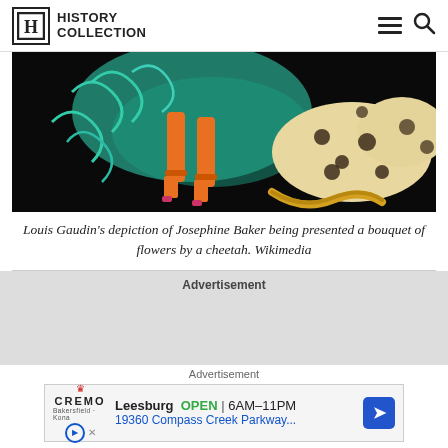HISTORY COLLECTION
[Figure (illustration): Louis Gaudin artwork showing Josephine Baker's legs in orange stockings and pink heels, with a cheetah depicted with teal swirling patterns on a black background]
Louis Gaudin's depiction of Josephine Baker being presented a bouquet of flowers by a cheetah. Wikimedia
Advertisement
Advertisement
[Figure (screenshot): Advertisement banner for Cremo store in Leesburg: OPEN 6AM-11PM, 19360 Compass Creek Parkway...]